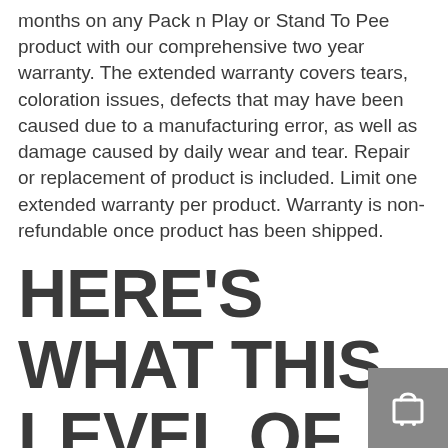months on any Pack n Play or Stand To Pee product with our comprehensive two year warranty. The extended warranty covers tears, coloration issues, defects that may have been caused due to a manufacturing error, as well as damage caused by daily wear and tear. Repair or replacement of product is included. Limit one extended warranty per product. Warranty is non-refundable once product has been shipped.
HERE'S WHAT THIS LEVEL OF COVERGE INCLUDES